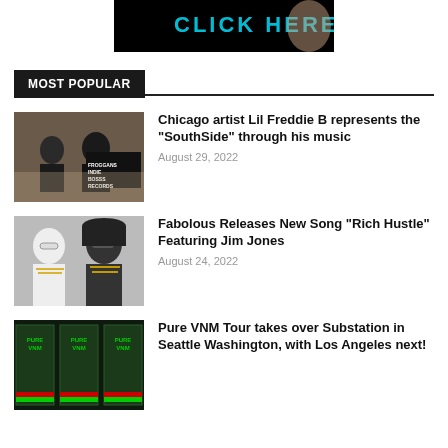[Figure (photo): Black banner advertisement with 'CLICK HERE' in teal text and partial image of a person]
MOST POPULAR
[Figure (photo): Photo of Chicago artist Lil Freddie B outdoors in black clothing]
Chicago artist Lil Freddie B represents the “SouthSide” through his music
August 29, 2022
[Figure (photo): Photo of Fabolous and Jim Jones wearing sunglasses and jewelry]
Fabolous Releases New Song “Rich Hustle” Featuring Jim Jones
August 24, 2022
[Figure (photo): Pure VNM Tour promotional poster with green and dark background]
Pure VNM Tour takes over Substation in Seattle Washington, with Los Angeles next!